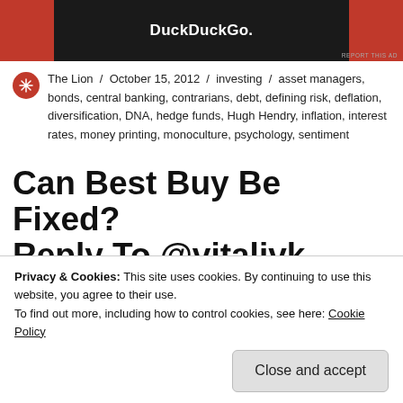[Figure (screenshot): DuckDuckGo advertisement banner with dark center panel and red side panels]
The Lion / October 15, 2012 / investing / asset managers, bonds, central banking, contrarians, debt, defining risk, deflation, diversification, DNA, hedge funds, Hugh Hendry, inflation, interest rates, money printing, monoculture, psychology, sentiment
Can Best Buy Be Fixed? Reply To @vitalivk
Privacy & Cookies: This site uses cookies. By continuing to use this website, you agree to their use.
To find out more, including how to control cookies, see here: Cookie Policy